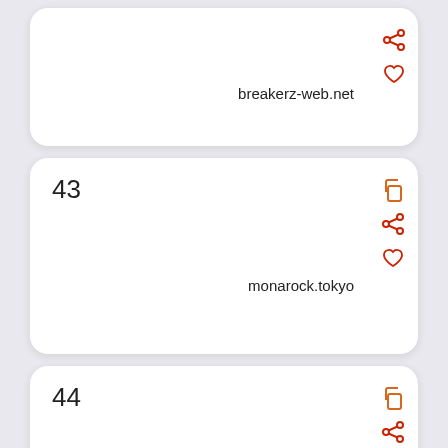breakerz-web.net
43  monarock.tokyo
44  play.google.com
45  directory.churchofjesuschrist.org
46 (partial)